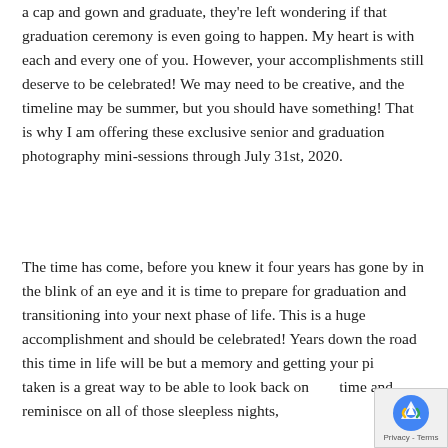a cap and gown and graduate, they're left wondering if that graduation ceremony is even going to happen. My heart is with each and every one of you. However, your accomplishments still deserve to be celebrated! We may need to be creative, and the timeline may be summer, but you should have something! That is why I am offering these exclusive senior and graduation photography mini-sessions through July 31st, 2020.
The time has come, before you knew it four years has gone by in the blink of an eye and it is time to prepare for graduation and transitioning into your next phase of life. This is a huge accomplishment and should be celebrated! Years down the road this time in life will be but a memory and getting your pictures taken is a great way to be able to look back on this time and reminisce on all of those sleepless nights,